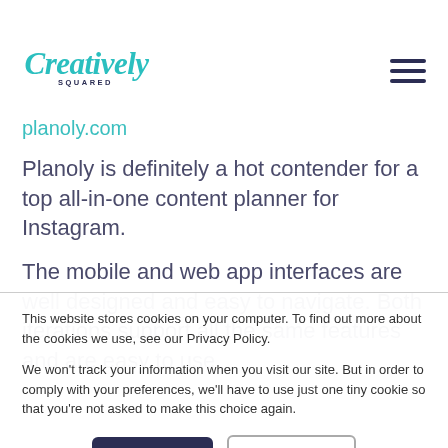[Figure (logo): Creatively Squared logo in teal cursive script with 'SQUARED' in small dark caps beneath]
planoly.com
Planoly is definitely a hot contender for a top all-in-one content planner for Instagram.
The mobile and web app interfaces are well designed and easy to navigate. Both iterations support all the same features and are easy to use
This website stores cookies on your computer. To find out more about the cookies we use, see our Privacy Policy.
We won't track your information when you visit our site. But in order to comply with your preferences, we'll have to use just one tiny cookie so that you're not asked to make this choice again.